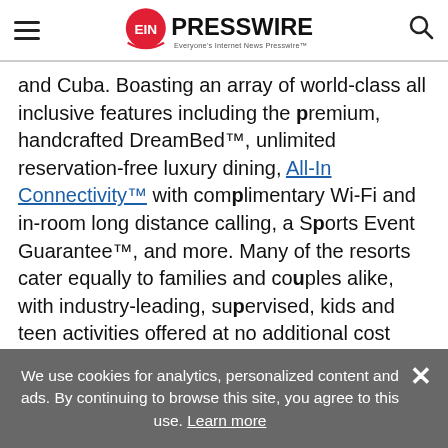EIN PRESSWIRE — Everyone's Internet News Presswire
and Cuba. Boasting an array of world-class all inclusive features including the premium, handcrafted DreamBed™, unlimited reservation-free luxury dining, All-In Connectivity™ with complimentary Wi-Fi and in-room long distance calling, a Sports Event Guarantee™, and more. Many of the resorts cater equally to families and couples alike, with industry-leading, supervised, kids and teen activities offered at no additional cost combined with family-friendly
We use cookies for analytics, personalized content and ads. By continuing to browse this site, you agree to this use. Learn more